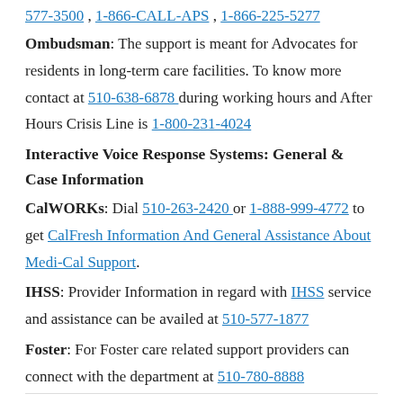577-3500, 1-866-CALL-APS, 1-866-225-5277
Ombudsman: The support is meant for Advocates for residents in long-term care facilities. To know more contact at 510-638-6878 during working hours and After Hours Crisis Line is 1-800-231-4024
Interactive Voice Response Systems: General & Case Information
CalWORKs: Dial 510-263-2420 or 1-888-999-4772 to get CalFresh Information And General Assistance About Medi-Cal Support.
IHSS: Provider Information in regard with IHSS service and assistance can be availed at 510-577-1877
Foster: For Foster care related support providers can connect with the department at 510-780-8888
IHSS Cli... Contact 510-577-1888 ... IHSS